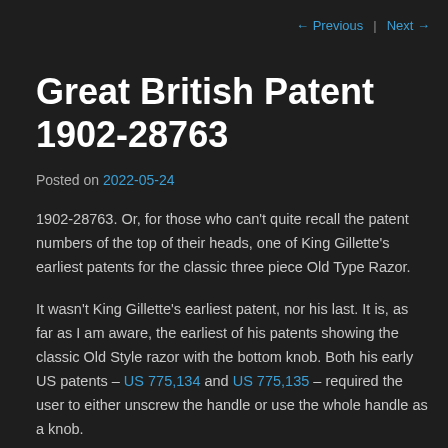← Previous  Next →
Great British Patent 1902-28763
Posted on 2022-05-24
1902-28763. Or, for those who can't quite recall the patent numbers of the top of their heads, one of King Gillette's earliest patents for the classic three piece Old Type Razor.
It wasn't King Gillette's earliest patent, nor his last. It is, as far as I am aware, the earliest of his patents showing the classic Old Style razor with the bottom knob. Both his early US patents – US 775,134 and US 775,135 – required the user to either unscrew the handle or use the whole handle as a knob.